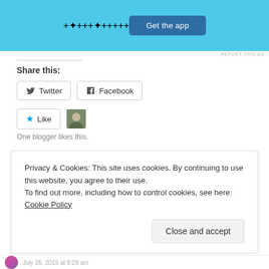[Figure (screenshot): App promotion banner with light blue background and 'Get the app' button]
REPORT THIS AD
Share this:
Twitter  Facebook
Like  [avatar image]
One blogger likes this.
Privacy & Cookies: This site uses cookies. By continuing to use this website, you agree to their use.
To find out more, including how to control cookies, see here: Cookie Policy
Close and accept
July 26, 2015 at 8:29 am